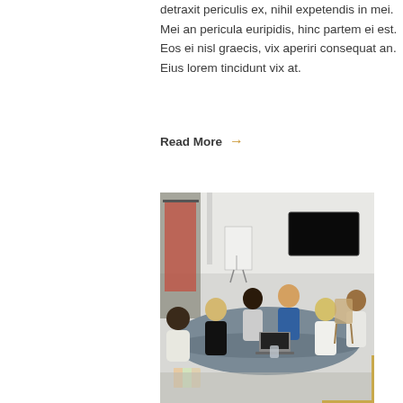detraxit periculis ex, nihil expetendis in mei. Mei an pericula euripidis, hinc partem ei est. Eos ei nisl graecis, vix aperiri consequat an. Eius lorem tincidunt vix at.
Read More →
[Figure (photo): Business meeting photo: six people seated around a large grey conference table in a modern white room. A black TV screen is mounted on the wall. A whiteboard easel is in the background. People have laptops and papers on the table. A gold decorative border element is in the bottom-right corner.]